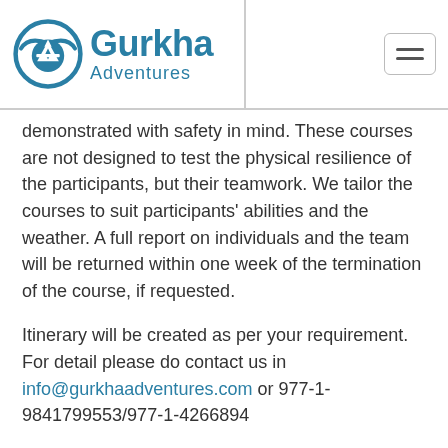[Figure (logo): Gurkha Adventures logo with circular emblem and text]
demonstrated with safety in mind. These courses are not designed to test the physical resilience of the participants, but their teamwork. We tailor the courses to suit participants' abilities and the weather. A full report on individuals and the team will be returned within one week of the termination of the course, if requested.
Itinerary will be created as per your requirement. For detail please do contact us in info@gurkhaadventures.com or 977-1-9841799553/977-1-4266894